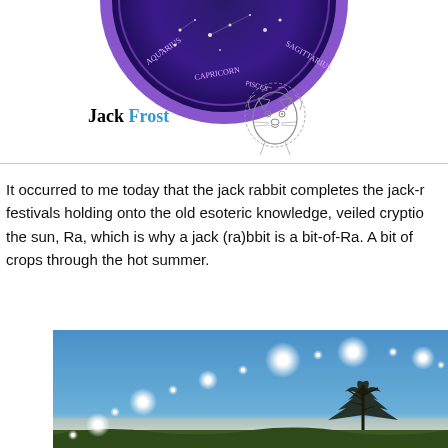[Figure (illustration): Partial zodiac wheel with constellation map in purple/blue tones, cropped at top of page]
Jack Frost
[Figure (illustration): Sketch illustration of Leo zodiac symbol — lion head]
It occurred to me today that the jack rabbit completes the jack-r... festivals holding onto the old esoteric knowledge, veiled cryptio... the sun, Ra, which is why a jack (ra)bbit is a bit-of-Ra. A bit of ... crops through the hot summer.
[Figure (photo): Composite photo of sun positions across sky forming an arc (analemma), with a bare tree silhouette and landscape at bottom, blue sky background]